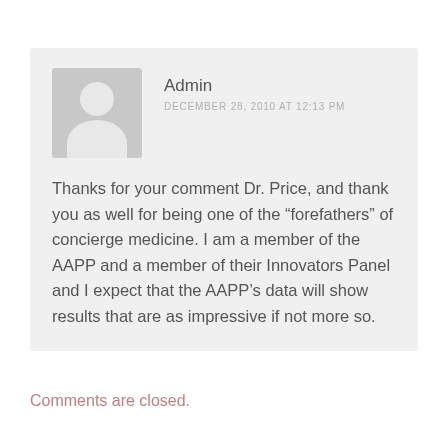[Figure (illustration): Generic user avatar: grey square with white silhouette of a person (circle head, rounded body)]
Admin
DECEMBER 28, 2010 AT 12:13 PM
Thanks for your comment Dr. Price, and thank you as well for being one of the “forefathers” of concierge medicine. I am a member of the AAPP and a member of their Innovators Panel and I expect that the AAPP’s data will show results that are as impressive if not more so.
Comments are closed.